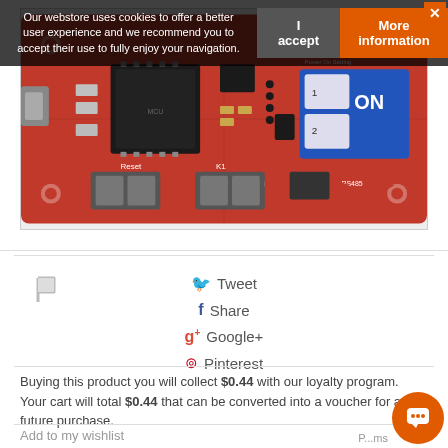Our webstore uses cookies to offer a better user experience and we recommend you to accept their use to fully enjoy your navigation.
[Figure (photo): Red electronic circuit board / Arduino-compatible board with microcontroller chip, USB connector, CAN bus connectors, reset button, blue DIP switch labeled 'Power On Setting ON', and various components on a red PCB.]
[Figure (illustration): Grey flag/bookmark icon]
Tweet
Share
Google+
Pinterest
Buying this product you will collect $0.44 with our loyalty program. Your cart will total $0.44 that can be converted into a voucher for a future purchase.
Add to my wishlist